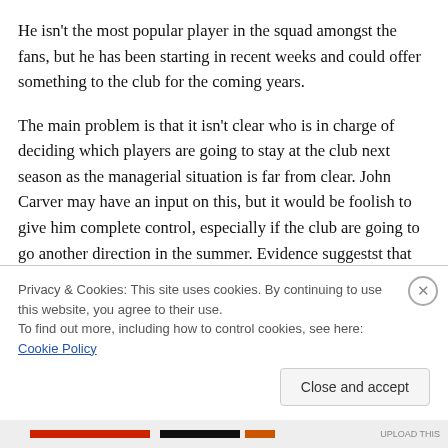He isn't the most popular player in the squad amongst the fans, but he has been starting in recent weeks and could offer something to the club for the coming years.
The main problem is that it isn't clear who is in charge of deciding which players are going to stay at the club next season as the managerial situation is far from clear. John Carver may have an input on this, but it would be foolish to give him complete control, especially if the club are going to go another direction in the summer. Evidence suggestst that Carver is a big fan of Ameobi and would be an
Privacy & Cookies: This site uses cookies. By continuing to use this website, you agree to their use.
To find out more, including how to control cookies, see here: Cookie Policy